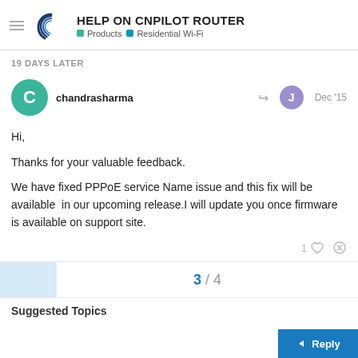HELP ON CNPILOT ROUTER | Products | Residential Wi-Fi
19 DAYS LATER
chandrasharma  Dec '15
Hi,

Thanks for your valuable feedback.

We have fixed PPPoE service Name issue and this fix will be available  in our upcoming release.I will update you once firmware is available on support site.
3 / 4
Suggested Topics